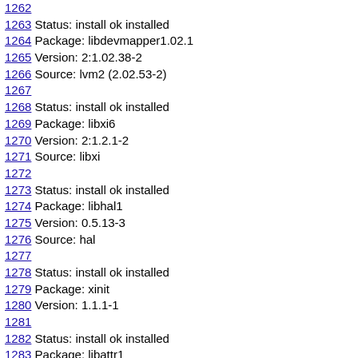1262
1263 Status: install ok installed
1264 Package: libdevmapper1.02.1
1265 Version: 2:1.02.38-2
1266 Source: lvm2 (2.02.53-2)
1267
1268 Status: install ok installed
1269 Package: libxi6
1270 Version: 2:1.2.1-2
1271 Source: libxi
1272
1273 Status: install ok installed
1274 Package: libhal1
1275 Version: 0.5.13-3
1276 Source: hal
1277
1278 Status: install ok installed
1279 Package: xinit
1280 Version: 1.1.1-1
1281
1282 Status: install ok installed
1283 Package: libattr1
1284 Version: 1:2.4.44-1
1285 Source: attr
1286
1287 Status: install ok installed